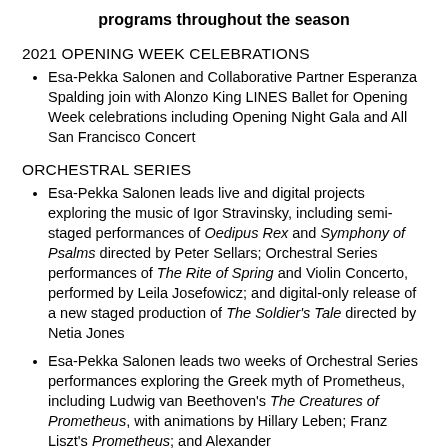programs throughout the season
2021 OPENING WEEK CELEBRATIONS
Esa-Pekka Salonen and Collaborative Partner Esperanza Spalding join with Alonzo King LINES Ballet for Opening Week celebrations including Opening Night Gala and All San Francisco Concert
ORCHESTRAL SERIES
Esa-Pekka Salonen leads live and digital projects exploring the music of Igor Stravinsky, including semi-staged performances of Oedipus Rex and Symphony of Psalms directed by Peter Sellars; Orchestral Series performances of The Rite of Spring and Violin Concerto, performed by Leila Josefowicz; and digital-only release of a new staged production of The Soldier's Tale directed by Netia Jones
Esa-Pekka Salonen leads two weeks of Orchestral Series performances exploring the Greek myth of Prometheus, including Ludwig van Beethoven's The Creatures of Prometheus, with animations by Hillary Leben; Franz Liszt's Prometheus; and Alexander